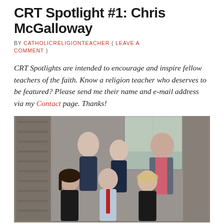CRT Spotlight #1: Chris McGalloway
BY CATHOLICRELIGIONTEACHER ( LEAVE A COMMENT )
CRT Spotlights are intended to encourage and inspire fellow teachers of the faith. Know a religion teacher who deserves to be featured? Please send me their name and e-mail address via my Contact page. Thanks!
[Figure (photo): A family of six people posing together outdoors near a building with sliding glass doors. Three younger people in front row and three adults behind them.]